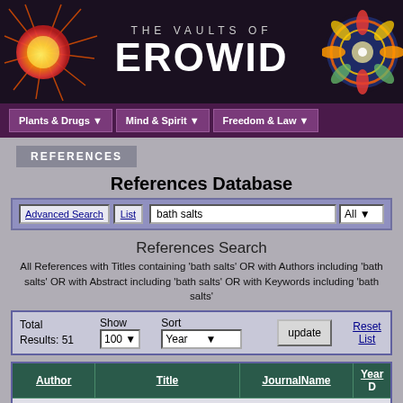[Figure (screenshot): The Vaults of Erowid website header banner with sun logo on left, stylized mandala on right, dark background, white text reading THE VAULTS OF EROWID]
Plants & Drugs | Mind & Spirit | Freedom & Law
REFERENCES
References Database
Advanced Search | List | bath salts | All
References Search
All References with Titles containing 'bath salts' OR with Authors including 'bath salts' OR with Abstract including 'bath salts' OR with Keywords including 'bath salts'
| Total Results: 51 | Show 100 | Sort Year |  | update | Reset List |
| --- | --- | --- | --- | --- | --- |
| Author | Title | JournalName | Year D |
| --- | --- | --- | --- |
| Click on Column Headers to Re-Sort The Current List |